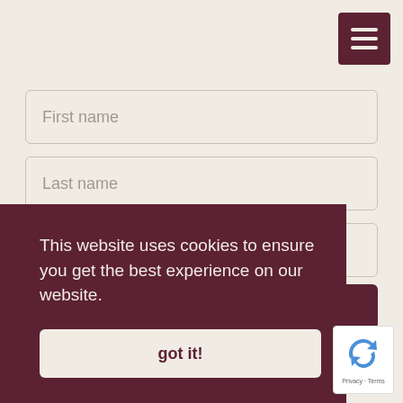[Figure (other): Hamburger menu button, dark burgundy square with three horizontal white lines]
First name
Last name
Your email *
This website uses cookies to ensure you get the best experience on our website.
got it!
[Figure (other): Google reCAPTCHA widget with privacy and terms links]